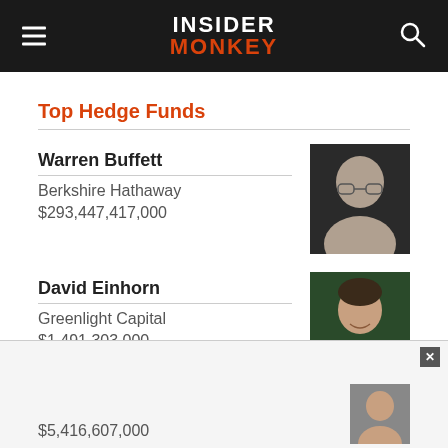INSIDER MONKEY
Top Hedge Funds
Warren Buffett | Berkshire Hathaway | $293,447,417,000
David Einhorn | Greenlight Capital | $1,491,303,000
$5,416,607,000